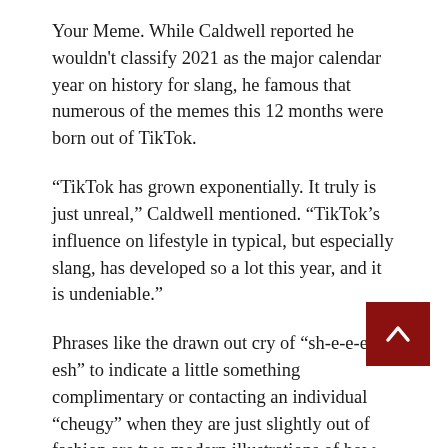Your Meme. While Caldwell reported he wouldn't classify 2021 as the major calendar year on history for slang, he famous that numerous of the memes this 12 months were born out of TikTok.
“TikTok has grown exponentially. It truly is just unreal,” Caldwell mentioned. “TikTok’s influence on lifestyle in typical, but especially slang, has developed so a lot this year, and it is undeniable.”
Phrases like the drawn out cry of “sh-e-e-e-esh” to indicate a little something complimentary or contacting an individual “cheugy” when they are just slightly out of fashion are two modern illustrations of how TikTok has shifted social media linguistics.
Here is NBC News’ roundup of the greatest memes of 2021.